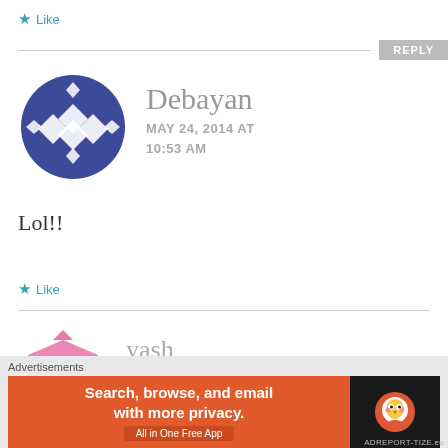★ Like
REPLY
[Figure (illustration): Blue geometric circular avatar for user Debayan]
Debayan
MAY 24, 2014 AT 10:53 AM
Lol!!
★ Like
[Figure (illustration): Pink geometric owl-like avatar for user yash]
yash
Advertisements
[Figure (screenshot): DuckDuckGo advertisement banner: Search, browse, and email with more privacy. All in One Free App]